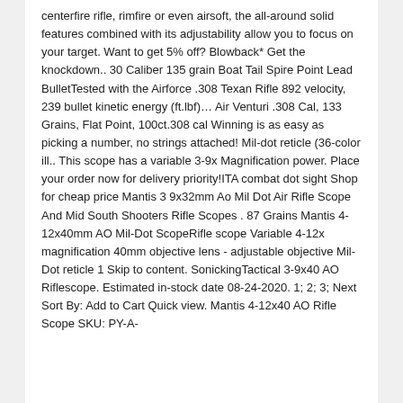centerfire rifle, rimfire or even airsoft, the all-around solid features combined with its adjustability allow you to focus on your target. Want to get 5% off? Blowback* Get the knockdown.. 30 Caliber 135 grain Boat Tail Spire Point Lead BulletTested with the Airforce .308 Texan Rifle 892 velocity, 239 bullet kinetic energy (ft.lbf)... Air Venturi .308 Cal, 133 Grains, Flat Point, 100ct.308 cal Winning is as easy as picking a number, no strings attached! Mil-dot reticle (36-color ill.. This scope has a variable 3-9x Magnification power. Place your order now for delivery priority!ITA combat dot sight Shop for cheap price Mantis 3 9x32mm Ao Mil Dot Air Rifle Scope And Mid South Shooters Rifle Scopes . 87 Grains Mantis 4-12x40mm AO Mil-Dot ScopeRifle scope Variable 4-12x magnification 40mm objective lens - adjustable objective Mil-Dot reticle 1 Skip to content. SonickingTactical 3-9x40 AO Riflescope. Estimated in-stock date 08-24-2020. 1; 2; 3; Next Sort By: Add to Cart Quick view. Mantis 4-12x40 AO Rifle Scope SKU: PY-A-